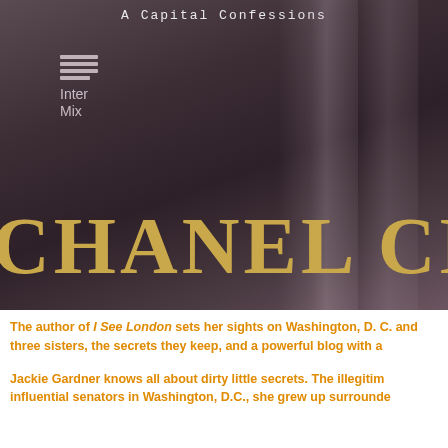[Figure (illustration): Book cover showing a dark purple/mauve draped fabric background with InterMix publisher logo at top left, series title 'A Capital Confessions' at top, and large gold author name 'CHANEL CLE' visible at bottom (cropped)]
The author of I See London sets her sights on Washington, D. C. and three sisters, the secrets they keep, and a powerful blog with a
Jackie Gardner knows all about dirty little secrets. The illegitim influential senators in Washington, D.C., she grew up surrounde